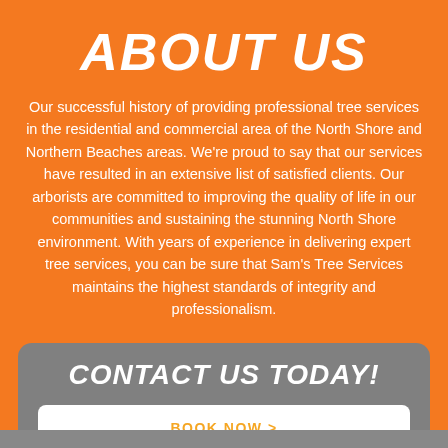ABOUT US
Our successful history of providing professional tree services in the residential and commercial area of the North Shore and Northern Beaches areas. We’re proud to say that our services have resulted in an extensive list of satisfied clients. Our arborists are committed to improving the quality of life in our communities and sustaining the stunning North Shore environment. With years of experience in delivering expert tree services, you can be sure that Sam’s Tree Services maintains the highest standards of integrity and professionalism.
CONTACT US TODAY!
BOOK NOW >